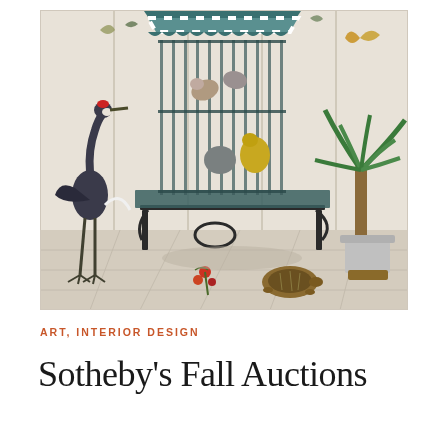[Figure (illustration): A decorative painting depicting an ornate bird cage with a pagoda-style teal and white striped canopy top, set on an elaborate black wrought-iron table with scrollwork legs. Inside the cage are several birds including pigeons and parrots. A large dark grey crane with a red cap stands to the left. A potted palm tree is on the right. A tortoise walks on the tiled floor in the foreground. Red flowers and a butterfly are also visible. The painting appears to be on multiple vertical panels, suggesting a folding screen.]
ART, INTERIOR DESIGN
Sotheby's Fall Auctions